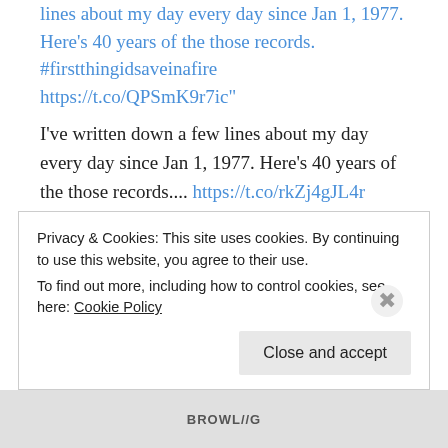lines about my day every day since Jan 1, 1977. Here's 40 years of the those records. #firstthingidsaveinafire https://t.co/QPSmK9r7ic"
I've written down a few lines about my day every day since Jan 1, 1977. Here's 40 years of the those records.... https://t.co/rkZj4gJL4r
tags: twitter
Decker Ngongang on Twitter: "My mom and her nine siblings grew up sharecropping in SC. A while back
Privacy & Cookies: This site uses cookies. By continuing to use this website, you agree to their use.
To find out more, including how to control cookies, see here: Cookie Policy